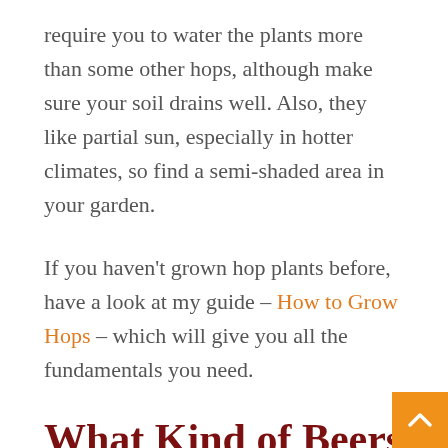require you to water the plants more than some other hops, although make sure your soil drains well. Also, they like partial sun, especially in hotter climates, so find a semi-shaded area in your garden.
If you haven't grown hop plants before, have a look at my guide – How to Grow Hops – which will give you all the fundamentals you need.
What Kind of Beers Can you Make from Crystal Hops?